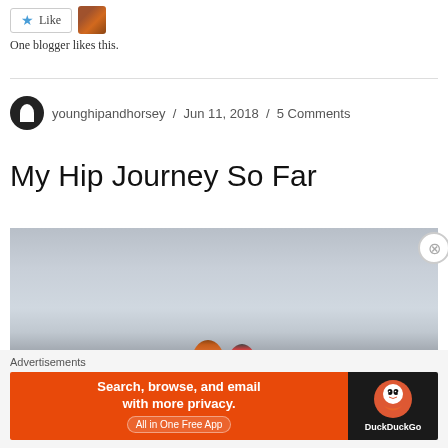[Figure (other): Like button with star icon and a small avatar thumbnail photo]
One blogger likes this.
younghipandhorsey / Jun 11, 2018 / 5 Comments
My Hip Journey So Far
[Figure (photo): Two people wearing hats and winter jackets outdoors under a grey overcast sky, visible from shoulders up at the bottom of the frame]
Advertisements
[Figure (other): DuckDuckGo advertisement banner: Search, browse, and email with more privacy. All in One Free App. DuckDuckGo logo on dark background.]